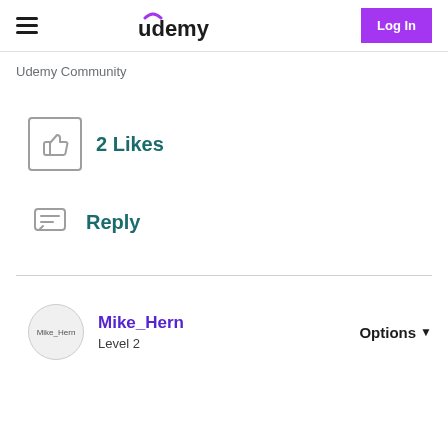Udemy — Log In
Udemy Community
2 Likes
Reply
Mike_Hern
Level 2